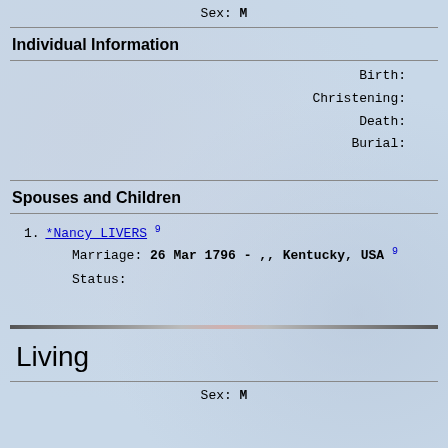Sex: M
Individual Information
Birth:
Christening:
Death:
Burial:
Spouses and Children
1. *Nancy LIVERS 9
Marriage: 26 Mar 1796 - ,, Kentucky, USA 9
Status:
Living
Sex: M